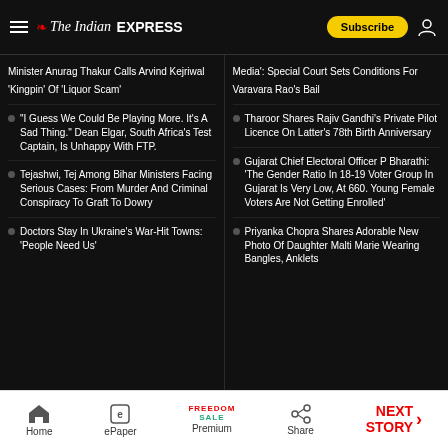The Indian Express
Minister Anurag Thakur Calls Arvind Kejriwal 'Kingpin' Of 'Liquor Scam'
Media': Special Court Sets Conditions For Varavara Rao's Bail
“I Guess We Could Be Playing More. It’s A Sad Thing.” Dean Elgar, South Africa’s Test Captain, Is Unhappy With FTP.
Tharoor Shares Rajiv Gandhi’s Private Pilot Licence On Latter’s 78th Birth Anniversary
Tejashwi, Tej Among Bihar Ministers Facing Serious Cases: From Murder And Criminal Conspiracy To Graft To Dowry
Gujarat Chief Electoral Officer P Bharathi: ‘The Gender Ratio In 18-19 Voter Group In Gujarat Is Very Low, At 660. Young Female Voters Are Not Getting Enrolled’
Doctors Stay In Ukraine’s War-Hit Towns: ‘People Need Us’
Priyanka Chopra Shares Adorable New Photo Of Daughter Malti Marie Wearing Bangles, Anklets
Home  ePaper  Premium  Share  NEXT STORY